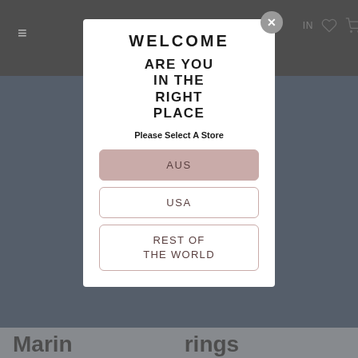[Figure (screenshot): Website background showing dark header with hamburger menu, navy blue hero section, and product page for earrings]
WELCOME
ARE YOU IN THE RIGHT PLACE
Please Select A Store
AUS
USA
REST OF THE WORLD